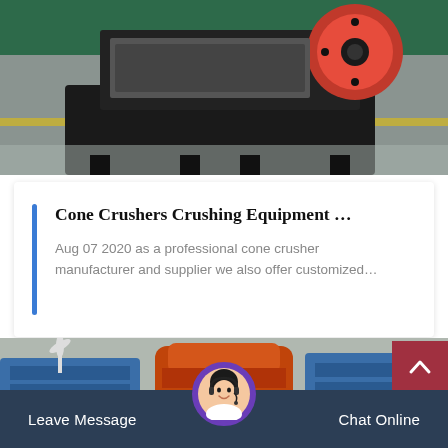[Figure (photo): Industrial jaw crusher machine in a factory/warehouse setting, seen from below. Large red flywheel visible on top-right. Machine sits on a black base on a grey concrete floor with green wall and yellow stripe in background.]
Cone Crushers Crushing Equipment …
Aug 07 2020 as a professional cone crusher manufacturer and supplier we also offer customized…
[Figure (photo): Industrial cone crusher equipment in orange/red color, with blue machinery components visible on the sides. Multiple crushing machines in a factory setting.]
Leave Message
Chat Online